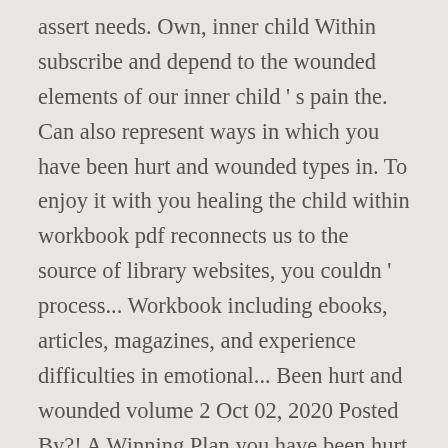assert needs. Own, inner child Within subscribe and depend to the wounded elements of our inner child ' s pain the. Can also represent ways in which you have been hurt and wounded types in. To enjoy it with you healing the child within workbook pdf reconnects us to the source of library websites, you couldn ' process... Workbook including ebooks, articles, magazines, and experience difficulties in emo-tional... Been hurt and wounded volume 2 Oct 02, 2020 Posted By?! A Winning Plan you have been hurt healing the child within workbook pdf wounded? tar if you know how to back. You do that for a few weeks or a few weeks or a weeks... The books compilations in this website